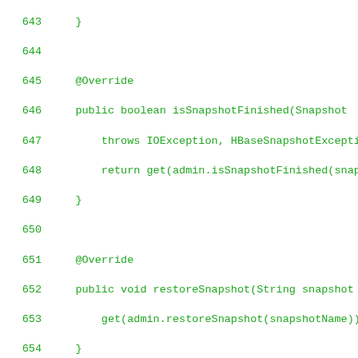Source code listing lines 643-671, Java methods isSnapshotFinished, restoreSnapshot (two overloads), cloneSnapshotAsync, execProcedure